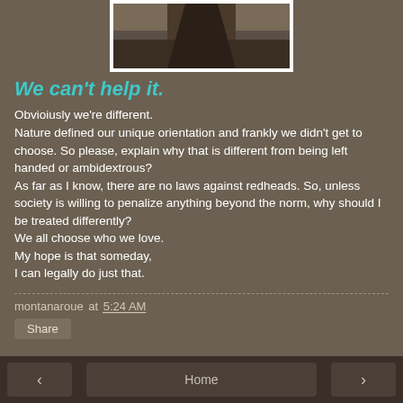[Figure (photo): Partial photo of a person/animal with dark background, framed with white border]
We can't help it.
Obvioiusly we're different.
Nature defined our unique orientation and frankly we didn't get to choose. So please, explain why that is different from being left handed or ambidextrous?
As far as I know, there are no laws against redheads. So, unless society is willing to penalize anything beyond the norm, why should I be treated differently?
We all choose who we love.
My hope is that someday,
I can legally do just that.
montanaroue at 5:24 AM
Share
‹   Home   ›